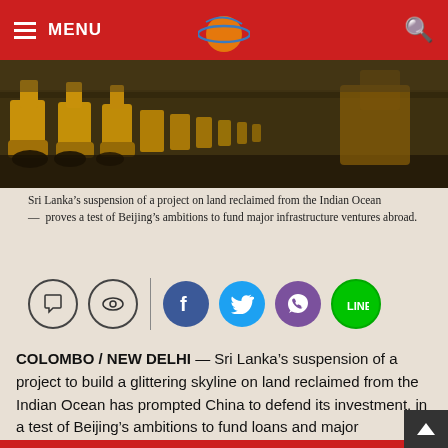MENU
[Figure (photo): Yellow construction machinery/excavators lined up on a construction site, viewed from a low angle.]
Sri Lanka's suspension of a project on land reclaimed from the Indian Ocean — proves a test of Beijing's ambitions to fund major infrastructure ventures abroad.
[Figure (infographic): Social sharing icons row: comment bubble, eye/view icon, divider, Facebook, Twitter, Viber, Line icons.]
COLOMBO / NEW DELHI — Sri Lanka's suspension of a project to build a glittering skyline on land reclaimed from the Indian Ocean has prompted China to defend its investment, in a test of Beijing's ambitions to fund loans and major infrastructure ventures abroad.